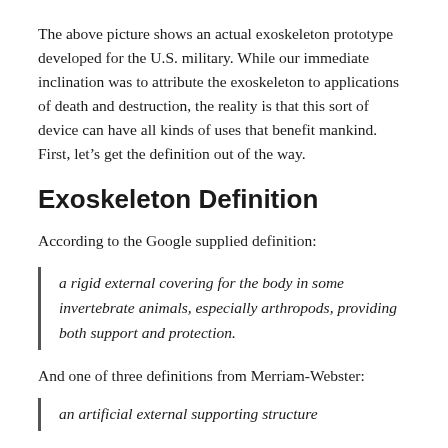The above picture shows an actual exoskeleton prototype developed for the U.S. military. While our immediate inclination was to attribute the exoskeleton to applications of death and destruction, the reality is that this sort of device can have all kinds of uses that benefit mankind. First, let's get the definition out of the way.
Exoskeleton Definition
According to the Google supplied definition:
a rigid external covering for the body in some invertebrate animals, especially arthropods, providing both support and protection.
And one of three definitions from Merriam-Webster:
an artificial external supporting structure